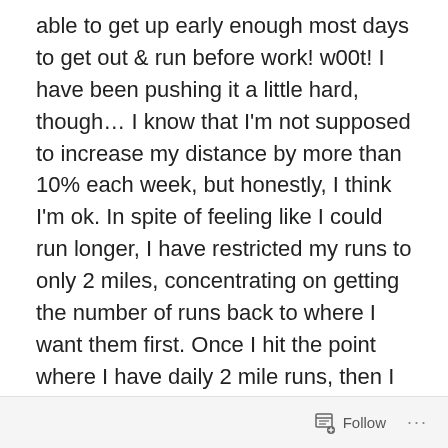able to get up early enough most days to get out & run before work!  w00t!  I have been pushing it a little hard, though…  I know that I'm not supposed to increase my distance by more than 10% each week, but honestly, I think I'm ok.  In spite of feeling like I could run longer, I have restricted my runs to only 2 miles, concentrating on getting the number of runs back to where I want them first.  Once I hit the point where I have daily 2 mile runs, then I can begin adding more miles to runs here & there.  It's really hard to be patient in the meantime, though!  LOL!  I've managed to add one day per week over the past couple of weeks – I'm up to running 4 days a week now.  I really want to leap right into it & just run 2 miles every day, but I am forcing myself to go slow.  No sense in putting myself right back to where I was last year with the
Follow ···